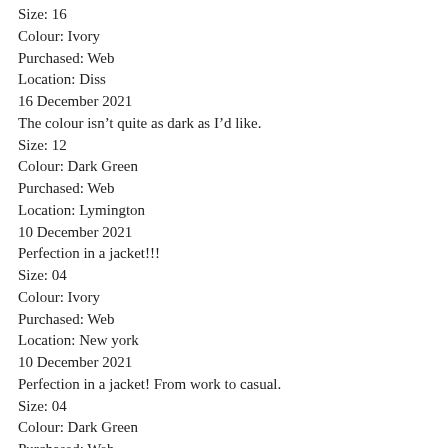Size: 16
Colour: Ivory
Purchased: Web
Location: Diss
16 December 2021
The colour isn't quite as dark as I'd like.
Size: 12
Colour: Dark Green
Purchased: Web
Location: Lymington
10 December 2021
Perfection in a jacket!!!
Size: 04
Colour: Ivory
Purchased: Web
Location: New york
10 December 2021
Perfection in a jacket! From work to casual.
Size: 04
Colour: Dark Green
Purchased: Web
Location: New york
08 December 2021
Lovely jacket and well priced.
Size: 14
Colour: N...